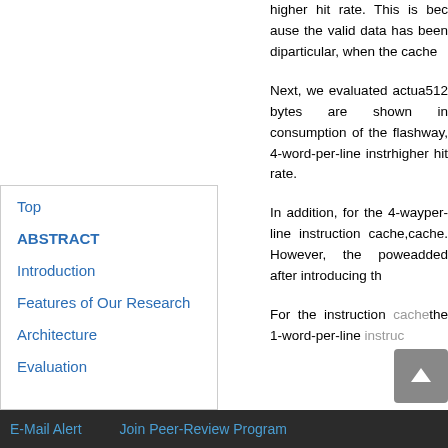higher hit rate. This is because the valid data has been di... particular, when the cache...
Next, we evaluated actua... 512 bytes are shown in... consumption of the flash... way, 4-word-per-line instr... higher hit rate.
In addition, for the 4-way... per-line instruction cache,... cache. However, the powe... added after introducing th...
For the instruction cache... the 1-word-per-line instruc...
Top
ABSTRACT
Introduction
Features of Our Research
Architecture
Evaluation
E-Mail Alert    Join Peer-Review Program